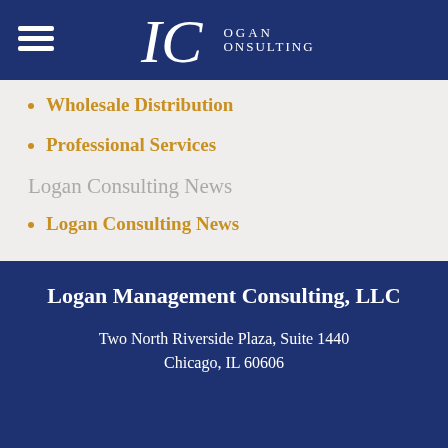[Figure (logo): Logan Consulting logo — IC monogram with text 'Logan Consulting' on a dark navy blue header bar, with hamburger menu icon on the left]
Wholesale Distribution
Professional Services
Logan Consulting News
Logan Consulting News
Logan Management Consulting, LLC
Two North Riverside Plaza, Suite 1440
Chicago, IL 60606